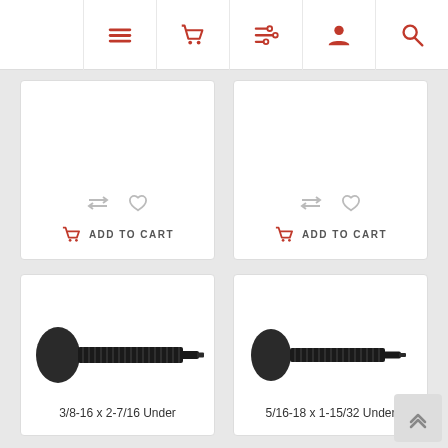Navigation bar with icons: menu, cart, filters, account, search
[Figure (screenshot): Top row card left: compare and heart icons, ADD TO CART button with basket icon]
[Figure (screenshot): Top row card right: compare and heart icons, ADD TO CART button with basket icon]
[Figure (photo): 3/8-16 x 2-7/16 Under shoulder bolt screw with threaded shank]
3/8-16 x 2-7/16 Under
[Figure (photo): 5/16-18 x 1-15/32 Under shoulder bolt screw with threaded shank]
5/16-18 x 1-15/32 Under